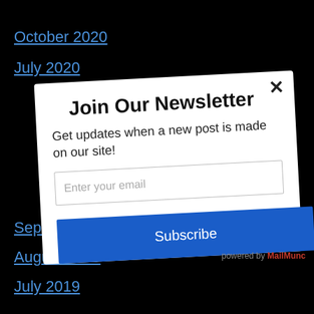October 2020
July 2020
Join Our Newsletter
Get updates when a new post is made on our site!
Enter your email
Subscribe
powered by MailMunc
September 2019
August 2019
July 2019